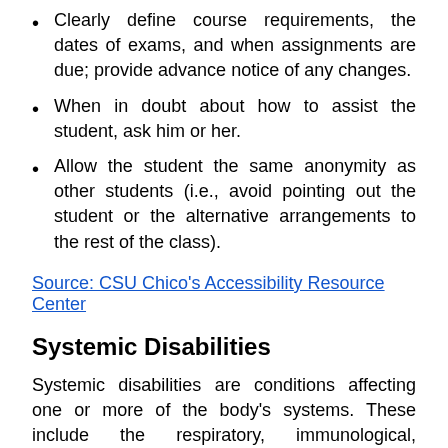Clearly define course requirements, the dates of exams, and when assignments are due; provide advance notice of any changes.
When in doubt about how to assist the student, ask him or her.
Allow the student the same anonymity as other students (i.e., avoid pointing out the student or the alternative arrangements to the rest of the class).
Source: CSU Chico's Accessibility Resource Center
Systemic Disabilities
Systemic disabilities are conditions affecting one or more of the body's systems. These include the respiratory, immunological, neurological, and circulatory systems. There are many kinds of